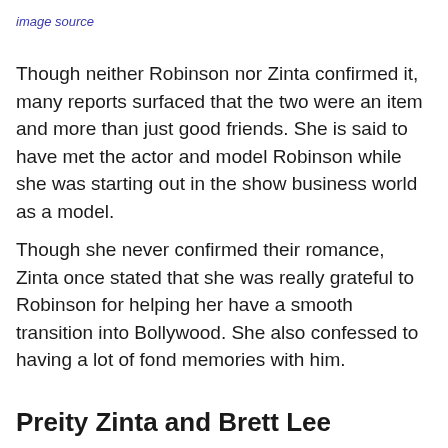image source
Though neither Robinson nor Zinta confirmed it, many reports surfaced that the two were an item and more than just good friends. She is said to have met the actor and model Robinson while she was starting out in the show business world as a model.
Though she never confirmed their romance, Zinta once stated that she was really grateful to Robinson for helping her have a smooth transition into Bollywood. She also confessed to having a lot of fond memories with him.
Preity Zinta and Brett Lee